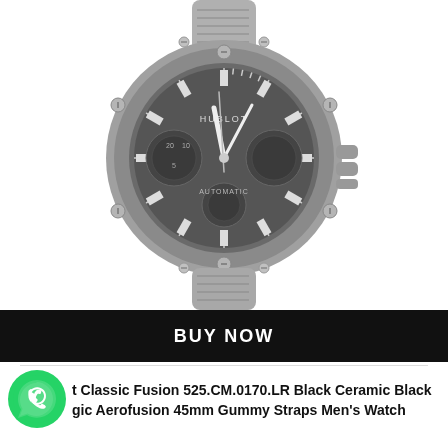[Figure (photo): Hublot Classic Fusion 525.CM.0170.LR black ceramic chronograph watch with skeleton dial, sub-dials, and gray/dark leather strap, displayed on white background. Watch appears in muted dark gray tones.]
BUY NOW
[Figure (logo): WhatsApp green circular logo icon]
t Classic Fusion 525.CM.0170.LR Black Ceramic Black gic Aerofusion 45mm Gummy Straps Men's Watch